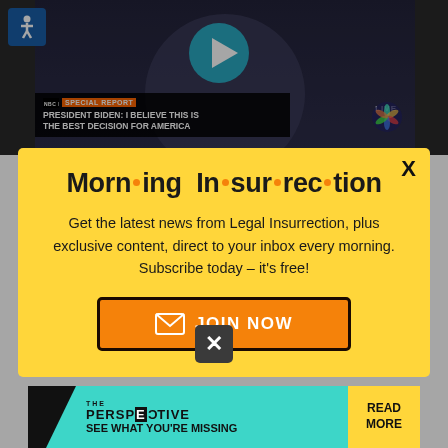[Figure (screenshot): NBC News Special Report video screenshot showing President Biden headline: 'PRESIDENT BIDEN: I BELIEVE THIS IS THE BEST DECISION FOR AMERICA' with LIVE badge]
Biden saying Afghanistan was yesterday's news, yesterday's terror threat. That he's top guilty tali responsible for 9-11, controlling a country
[Figure (infographic): Yellow popup modal for Morning Insurrection newsletter with title, description, and JOIN NOW button]
Morn·ing In·sur·rec·tion
Get the latest news from Legal Insurrection, plus exclusive content, direct to your inbox every morning. Subscribe today – it's free!
[Figure (infographic): JOIN NOW button with envelope icon]
[Figure (infographic): Bottom ad banner: THE PERSPECTIVE - SEE WHAT YOU'RE MISSING - READ MORE]